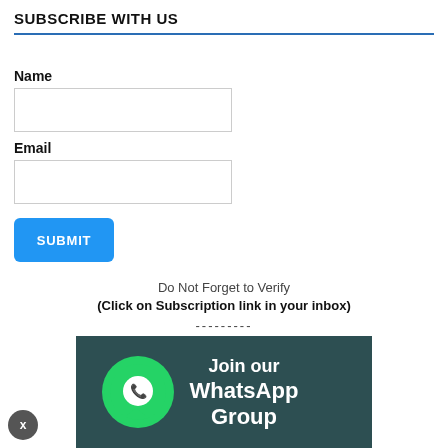SUBSCRIBE WITH US
Name
Email
SUBMIT
Do Not Forget to Verify
(Click on Subscription link in your inbox)
---------
[Figure (illustration): WhatsApp group join promotional banner with WhatsApp logo and text 'Join our WhatsApp Group' on dark teal background]